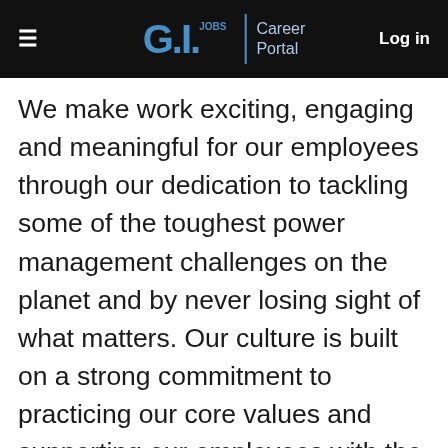G.I. JOBS | Career Portal  Log in
We make work exciting, engaging and meaningful for our employees through our dedication to tackling some of the toughest power management challenges on the planet and by never losing sight of what matters. Our culture is built on a strong commitment to practicing our core values and supporting our employees with the tools they need to succeed. We pledge to always foster a diverse and inclusive environment, including inclusion